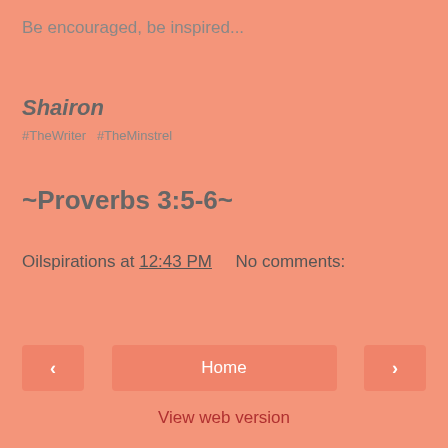Be encouraged, be inspired...
Shairon
#TheWriter  #TheMinstrel
~Proverbs 3:5-6~
Oilspirations at 12:43 PM    No comments:
‹
Home
›
View web version